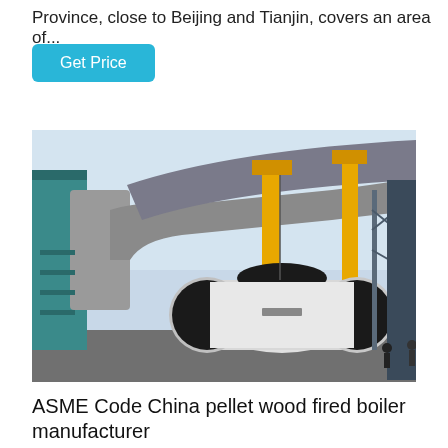Province, close to Beijing and Tianjin, covers an area of...
Get Price
[Figure (photo): Industrial boiler installation site showing a large cylindrical white and black boiler unit on the ground, with large grey ductwork overhead, yellow cranes in the background, and metal scaffolding structures. Workers visible in the background.]
ASME Code China pellet wood fired boiler manufacturer